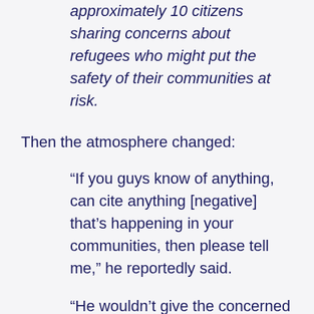approximately 10 citizens sharing concerns about refugees who might put the safety of their communities at risk.
Then the atmosphere changed:
“If you guys know of anything, can cite anything [negative] that’s happening in your communities, then please tell me,” he reportedly said.
“He wouldn’t give the concerned people the answers they were looking for,” said one person present at the meeting. “I watched him and was thinking what are you doing? It was